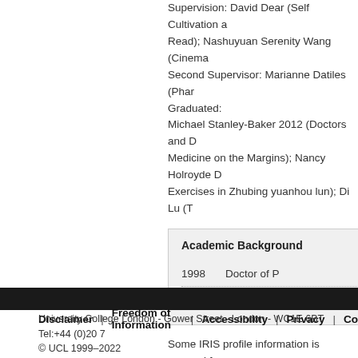Supervision: David Dear (Self Cultivation a... Read); Nashuyuan Serenity Wang (Cinema... Second Supervisor: Marianne Datiles (Pha... Graduated: Michael Stanley-Baker 2012 (Doctors and D... Medicine on the Margins); Nancy Holroyde D... Exercises in Zhubing yuanhou lun); Di Lu (T...
| Academic Background |
| --- |
| 1998 | Doctor of P... |
| 1991 | Bachelor o... |
Some IRIS profile information is sourced fro... page to hr-services@ucl.ac.uk.
Disclaimer | Freedom of Information | Accessibility | Privacy | Co... University College London - Gower Street - London - WC1E 6BT Tel:+44 (0)20 7... © UCL 1999–2022